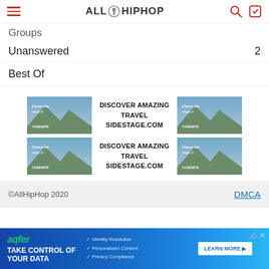AllHipHop
Groups
Unanswered  2
Best Of
[Figure (infographic): Advertisement banner for sidestage.com showing Yosemite landscape. Text: DISCOVER AMAZING TRAVEL SIDESTAGE.COM]
[Figure (infographic): Advertisement banner for sidestage.com showing Yosemite landscape. Text: DISCOVER AMAZING TRAVEL SIDESTAGE.COM]
©AllHipHop 2020   DMCA
[Figure (infographic): Bottom advertisement banner for aqfer. Text: TAKE CONTROL OF YOUR DATA. Identity Resolution, Personalized Content, Privacy Compliance. LEARN MORE button.]